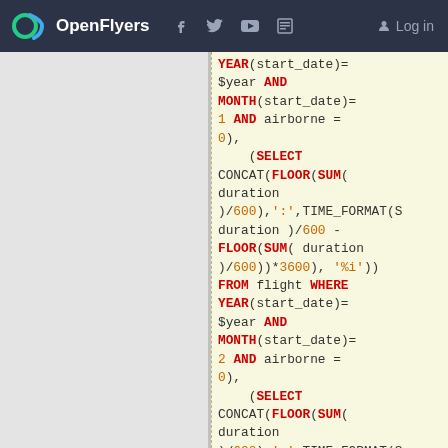OpenFlyers — Log in
[Figure (screenshot): SQL code snippet showing subqueries with YEAR, MONTH, SUM, FLOOR, CONCAT, TIME_FORMAT functions for flight duration calculations filtered by year, month and airborne status]
YEAR(start_date)= $year AND MONTH(start_date)= 1 AND airborne = 0), (SELECT CONCAT(FLOOR(SUM( duration )/600),':',TIME_FORMAT(S duration )/600 - FLOOR(SUM( duration )/600))*3600), '%i')) FROM flight WHERE YEAR(start_date)= $year AND MONTH(start_date)= 2 AND airborne = 0), (SELECT CONCAT(FLOOR(SUM( duration )/600),':',TIME_FORMAT(S duration )/600 - FLOOR(SUM( duration )/600))*3600), '%i')) FROM flight WHERE YEAR(start_date)=